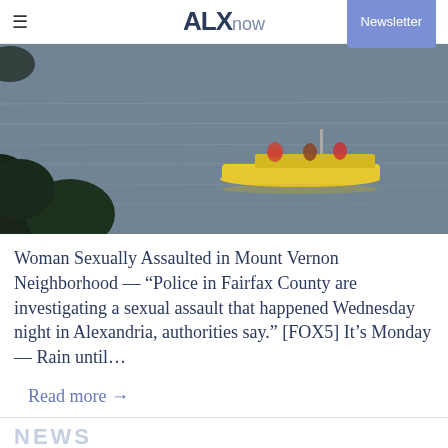ALXnow | Newsletter
[Figure (photo): A yellow kayak or small boat on a calm gray-blue body of water, with dark green tree foliage visible in the lower left foreground.]
Woman Sexually Assaulted in Mount Vernon Neighborhood — “Police in Fairfax County are investigating a sexual assault that happened Wednesday night in Alexandria, authorities say.” [FOX5] It’s Monday — Rain until…
Read more →
NEWS